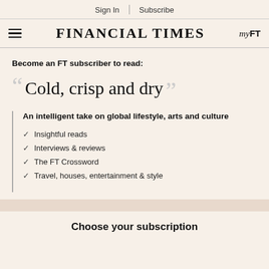Sign In | Subscribe
FINANCIAL TIMES
Become an FT subscriber to read:
Cold, crisp and dry
An intelligent take on global lifestyle, arts and culture
Insightful reads
Interviews & reviews
The FT Crossword
Travel, houses, entertainment & style
Choose your subscription